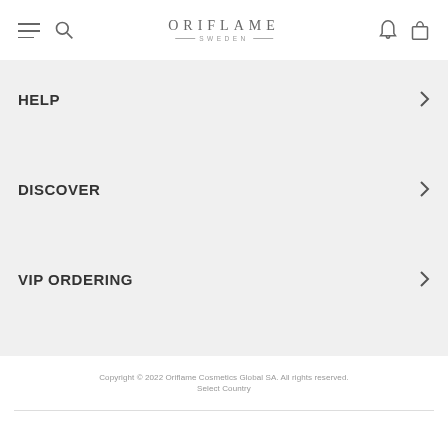ORIFLAME SWEDEN
HELP
DISCOVER
VIP ORDERING
Copyright © 2022 Oriflame Cosmetics Global SA. All rights reserved. Select Country